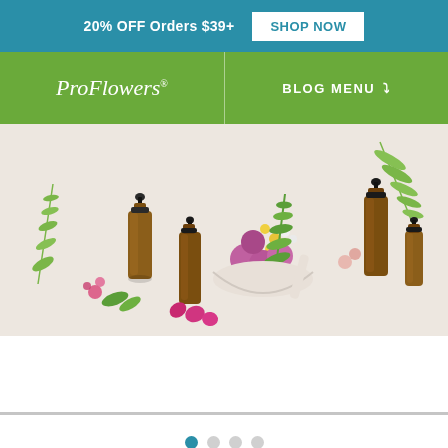20% OFF Orders $39+  SHOP NOW
[Figure (logo): ProFlowers logo in white italic serif font on green background]
BLOG MENU
[Figure (photo): Flat lay of amber essential oil dropper bottles, pink and yellow wildflowers in a white mortar and pestle, and green herb sprigs on a light beige background]